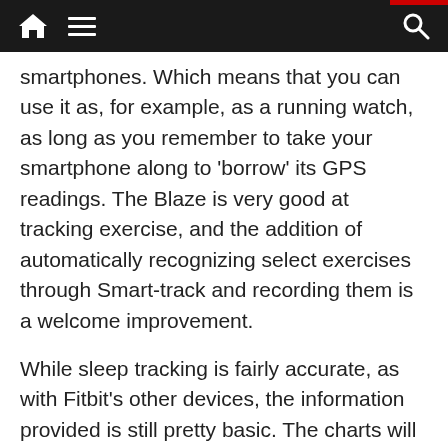Navigation bar with home, menu, and search icons
smartphones. Which means that you can use it as, for example, as a running watch, as long as you remember to take your smartphone along to 'borrow' its GPS readings. The Blaze is very good at tracking exercise, and the addition of automatically recognizing select exercises through Smart-track and recording them is a welcome improvement.
While sleep tracking is fairly accurate, as with Fitbit's other devices, the information provided is still pretty basic. The charts will only show sleep, restlessness and wake. There are much more advanced sleep trackers out there such as Jawbone UP3 or Basis Peak. The UP3 for example, shows you details of light, deep and REM sleep. It does this by monitoring your heart-rate, respiration rate, body temperature and galvanic skin response.